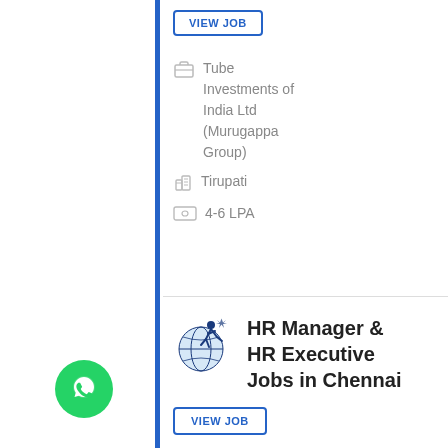[Figure (other): VIEW JOB button (top, cropped) in blue border]
Tube Investments of India Ltd (Murugappa Group)
Tirupati
4-6 LPA
[Figure (logo): Company logo - stylized figure with globe, dark blue]
HR Manager & HR Executive Jobs in Chennai
[Figure (other): VIEW JOB button in blue border]
BETAKE
PROCAMBUSNEERS (partially visible)